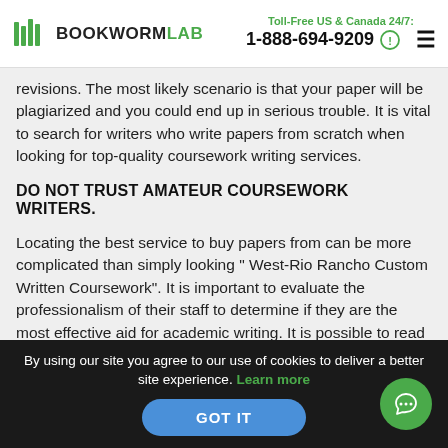BOOKWORMLAB | Toll-Free US & Canada 24/7: 1-888-694-9209
revisions. The most likely scenario is that your paper will be plagiarized and you could end up in serious trouble. It is vital to search for writers who write papers from scratch when looking for top-quality coursework writing services.
DO NOT TRUST AMATEUR COURSEWORK WRITERS.
Locating the best service to buy papers from can be more complicated than simply looking " West-Rio Rancho Custom Written Coursework". It is important to evaluate the professionalism of their staff to determine if they are the most effective aid for academic writing. It is possible to read the reviews of other customers. If they are pleased with their
By using our site you agree to our use of cookies to deliver a better site experience. Learn more | GOT IT